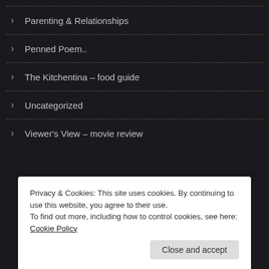Parenting & Relationships
Penned Poem..
The Kitchentina – food guide
Uncategorized
Viewer's View – movie review
Privacy & Cookies: This site uses cookies. By continuing to use this website, you agree to their use.
To find out more, including how to control cookies, see here: Cookie Policy
Close and accept